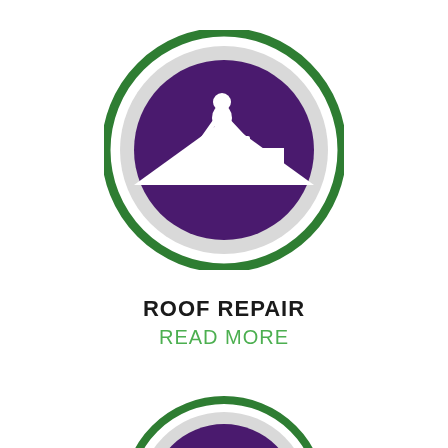[Figure (illustration): Circular icon with green outer ring, grey middle ring, and purple filled circle containing a white silhouette of a person standing on a roof peak with a chimney]
ROOF REPAIR
READ MORE
[Figure (illustration): Partially visible circular icon at bottom of page — same style green outer ring, grey middle ring, purple inner circle, partially cropped]